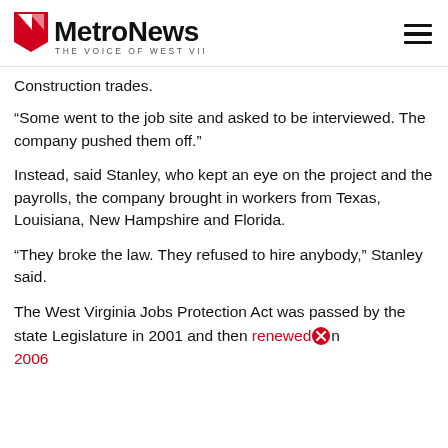MetroNews — THE VOICE OF WEST VIRGINIA
Construction trades.
“Some went to the job site and asked to be interviewed. The company pushed them off.”
Instead, said Stanley, who kept an eye on the project and the payrolls, the company brought in workers from Texas, Louisiana, New Hampshire and Florida.
“They broke the law. They refused to hire anybody,” Stanley said.
The West Virginia Jobs Protection Act was passed by the state Legislature in 2001 and then renewed in 2006